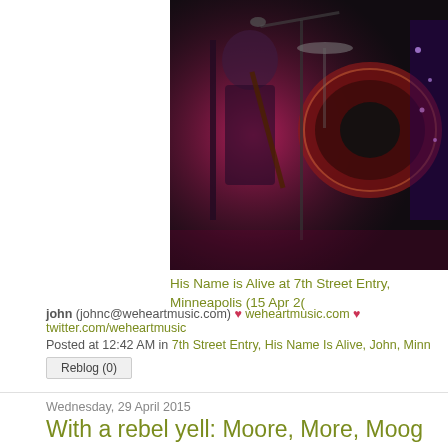[Figure (photo): Concert photo showing musicians on a dark stage with pink/red dramatic lighting, drums and guitar visible]
His Name is Alive at 7th Street Entry, Minneapolis (15 Apr 2(...)
john (johnc@weheartmusic.com) ♥ weheartmusic.com ♥ twitter.com/weheartmusic
Posted at 12:42 AM in 7th Street Entry, His Name Is Alive, John, Minn...
Reblog (0)
Wednesday, 29 April 2015
With a rebel yell: Moore, More, Moog
THE THURSTON MOORE BAND
thurstonmoore.com
When I saw Chelsea Light Moving (ex-Sonic Youth Thurston Moore's ba... I asked why they didn't just call themselves the Thurston Moore band...